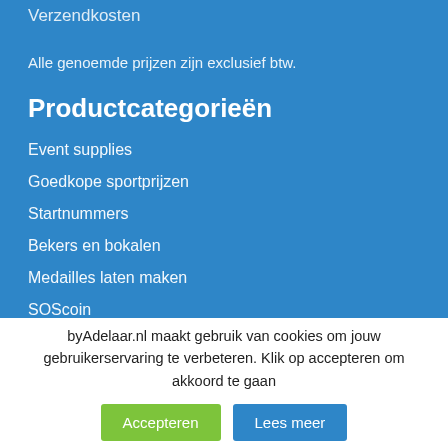Verzendkosten
Alle genoemde prijzen zijn exclusief btw.
Productcategorieën
Event supplies
Goedkope sportprijzen
Startnummers
Bekers en bokalen
Medailles laten maken
SOScoin
byAdelaar.nl maakt gebruik van cookies om jouw gebruikerservaring te verbeteren. Klik op accepteren om akkoord te gaan
Accepteren
Lees meer